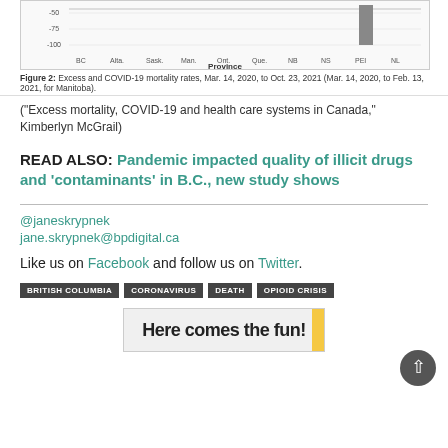[Figure (bar-chart): Bar chart showing excess and COVID-19 mortality rates by province, Mar. 14, 2020 to Oct. 23, 2021]
Figure 2: Excess and COVID-19 mortality rates, Mar. 14, 2020, to Oct. 23, 2021 (Mar. 14, 2020, to Feb. 13, 2021, for Manitoba).
("Excess mortality, COVID-19 and health care systems in Canada," Kimberlyn McGrail)
READ ALSO: Pandemic impacted quality of illicit drugs and ‘contaminants’ in B.C., new study shows
@janeskrypnek
jane.skrypnek@bpdigital.ca
Like us on Facebook and follow us on Twitter.
BRITISH COLUMBIA
CORONAVIRUS
DEATH
OPIOID CRISIS
[Figure (illustration): Advertisement banner: Here comes the fun!]